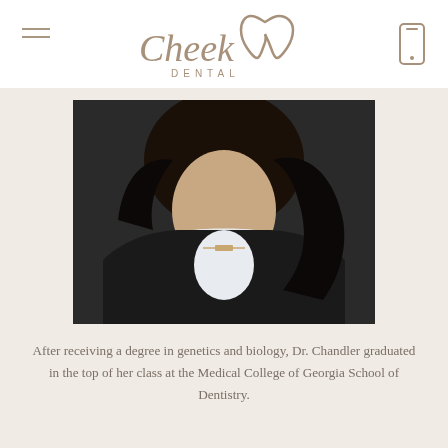[Figure (logo): Cheek Dental logo with stylized script text and tooth icon in taupe/brown color]
[Figure (photo): Professional headshot of Dr. Chandler, a woman with long dark hair wearing a black blazer over white top with a delicate necklace, photographed against a dark background]
After receiving a degree in genetics and biology, Dr. Chandler graduated in the top of her class at the Medical College of Georgia School of Dentistry.
More about Dr. Chandler →